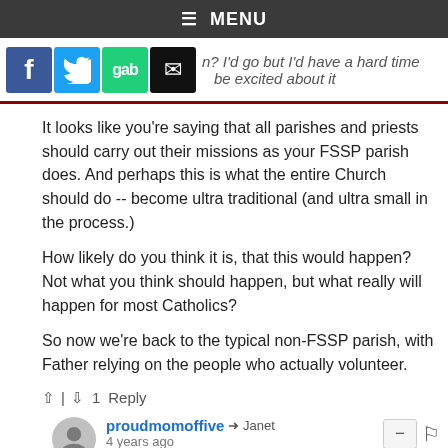≡ MENU
[Figure (screenshot): Social sharing buttons: Facebook, Twitter, Gab, Email, with partial text 'n? I'd go but I'd have a hard time be excited about it']
It looks like you're saying that all parishes and priests should carry out their missions as your FSSP parish does. And perhaps this is what the entire Church should do -- become ultra traditional (and ultra small in the process.)
How likely do you think it is, that this would happen? Not what you think should happen, but what really will happen for most Catholics?
So now we're back to the typical non-FSSP parish, with Father relying on the people who actually volunteer.
^ | ∨ 1  Reply
proudmomoffive → Janet
4 years ago
Consider this reality Janet that it's corner: